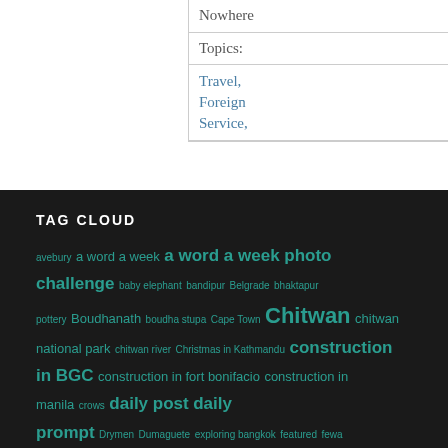Nowhere
Topics:
Travel, Foreign Service,
TAG CLOUD
avebury a word a week a word a week photo challenge baby elephant bandipur Belgrade bhaktapur pottery Boudhanath boudha stupa Cape Town Chitwan chitwan national park chitwan river Christmas in Kathmandu construction in BGC construction in fort bonifacio construction in manila crows daily post daily prompt Drymen Dumaguete exploring bangkok featured fewa lake foreign service relocation fs